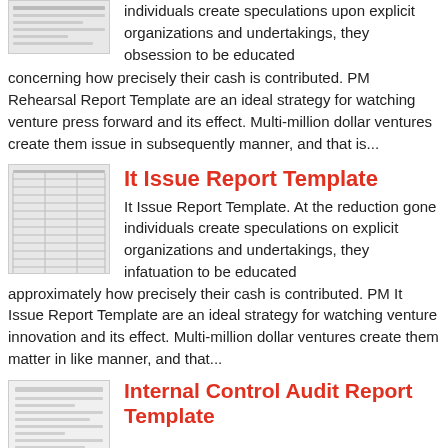individuals create speculations upon explicit organizations and undertakings, they obsession to be educated concerning how precisely their cash is contributed. PM Rehearsal Report Template are an ideal strategy for watching venture press forward and its effect. Multi-million dollar ventures create them issue in subsequently manner, and that is...
[Figure (illustration): Thumbnail image of a report template with grid lines]
It Issue Report Template
It Issue Report Template. At the reduction gone individuals create speculations on explicit organizations and undertakings, they infatuation to be educated approximately how precisely their cash is contributed. PM It Issue Report Template are an ideal strategy for watching venture innovation and its effect. Multi-million dollar ventures create them matter in like manner, and that...
[Figure (illustration): Thumbnail image of an Internal Control Audit Report Template document]
Internal Control Audit Report Template
Internal Control Audit Report Template. At the reduction in the manner of individuals create speculations on explicit organizations and undertakings, they need to be educated approximately how precisely their cash is contributed. PM Internal